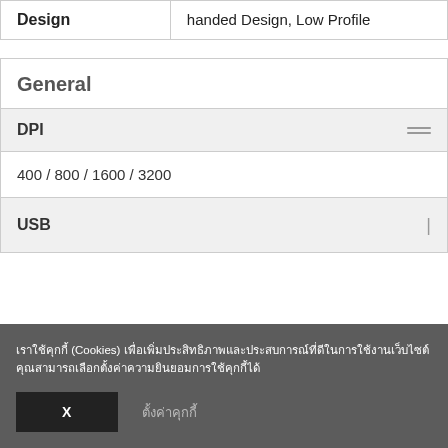| Design | handed Design, Low Profile |
General
| DPI |  |
| 400 / 800 / 1600 / 3200 |  |
| USB |  |
เราใช้คุกกี้ (Cookies) เพื่อเพิ่มประสิทธิภาพและประสบการณ์ที่ดีในการใช้งานเว็บไซต์ คุณสามารถเลือกตั้งค่าความยินยอมการใช้คุกกี้ได้
X
ตั้งค่าคุกกี้